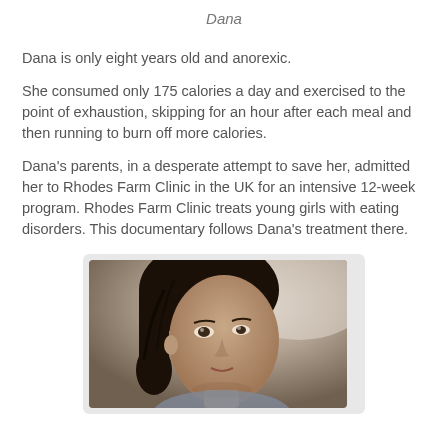Dana
Dana is only eight years old and anorexic.
She consumed only 175 calories a day and exercised to the point of exhaustion, skipping for an hour after each meal and then running to burn off more calories.
Dana's parents, in a desperate attempt to save her, admitted her to Rhodes Farm Clinic in the UK for an intensive 12-week program. Rhodes Farm Clinic treats young girls with eating disorders. This documentary follows Dana's treatment there.
[Figure (photo): Close-up photograph of a young girl with dark hair, looking slightly to the side, with soft lighting in the background.]